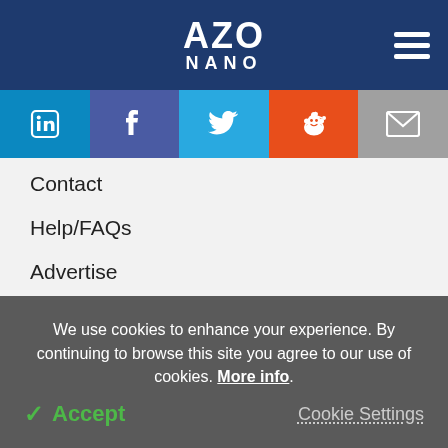AZO NANO
[Figure (infographic): Social media icons bar: LinkedIn, Facebook, Twitter, Reddit, Email]
Contact
Help/FAQs
Advertise
Terms & Conditions
Privacy & Cookie Policy
Sitemap
We use cookies to enhance your experience. By continuing to browse this site you agree to our use of cookies. More info.
✓ Accept
Cookie Settings